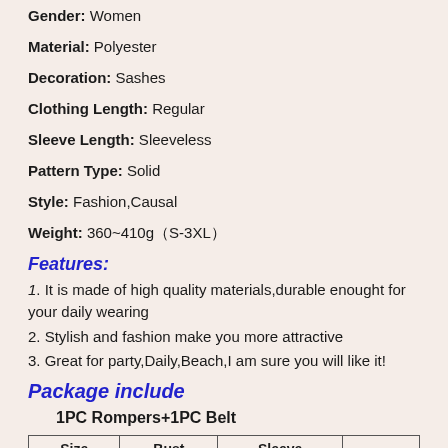Gender: Women
Material: Polyester
Decoration: Sashes
Clothing Length: Regular
Sleeve Length: Sleeveless
Pattern Type: Solid
Style: Fashion,Causal
Weight: 360~410g（S-3XL）
Features:
1. It is made of high quality materials,durable enought for your daily wearing
2. Stylish and fashion make you more attractive
3. Great for party,Daily,Beach,I am sure you will like it!
Package include
1PC Rompers+1PC Belt
| Size | Bust | Sleeve |
| --- | --- | --- |